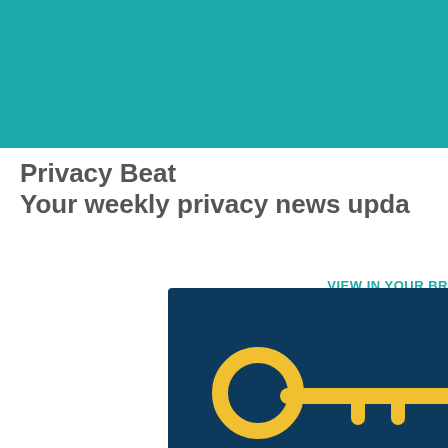[Figure (other): Teal/turquoise banner background at top of page]
Privacy Beat
Your weekly privacy news upda
VIEW IN YOUR BR
[Figure (illustration): Dark navy blue card with yellow key icon graphic, partially visible at bottom right of page]